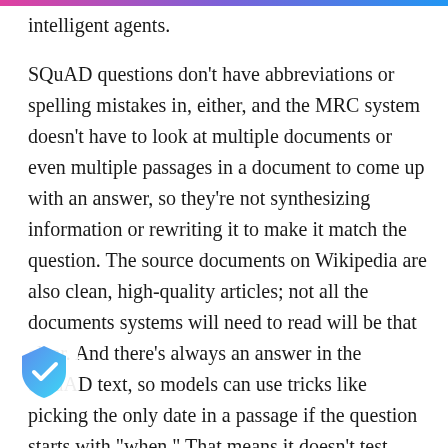intelligent agents. SQuAD questions don't have abbreviations or spelling mistakes in, either, and the MRC system doesn't have to look at multiple documents or even multiple passages in a document to come up with an answer, so they're not synthesizing information or rewriting it to make it match the question. The source documents on Wikipedia are also clean, high-quality articles; not all the documents systems will need to read will be that clear. And there's always an answer in the SQuAD text, so models can use tricks like picking the only date in a passage if the question starts with "when." That means it doesn't test whether a model can determine whether there is relevant information present in the document.